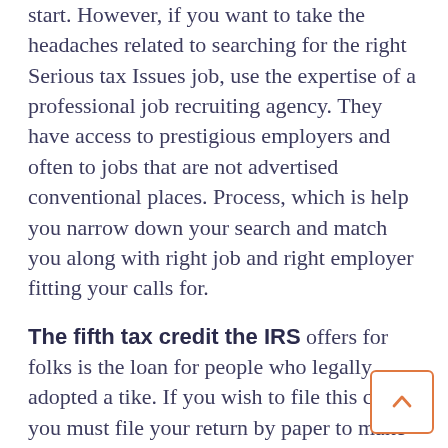start. However, if you want to take the headaches related to searching for the right Serious tax Issues job, use the expertise of a professional job recruiting agency. They have access to prestigious employers and often to jobs that are not advertised conventional places. Process, which is help you narrow down your search and match you along with right job and right employer fitting your calls for.
The fifth tax credit the IRS offers for folks is the loan for people who legally adopted a tike. If you wish to file this credit, you must file your return by paper to make sure you can include all documents necessary to the adoption. Form 8839 on credits in order to adopting parents which is available from the Federal government